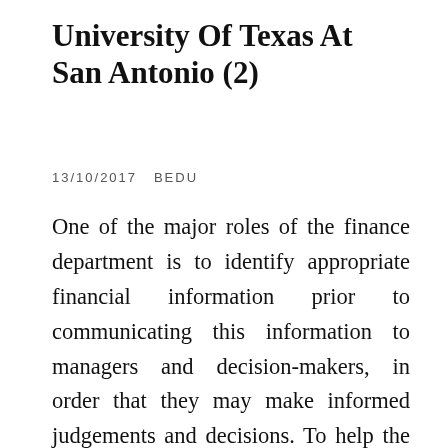University Of Texas At San Antonio (2)
13/10/2017   BEDU
One of the major roles of the finance department is to identify appropriate financial information prior to communicating this information to managers and decision-makers, in order that they may make informed judgements and decisions. To help the board fulfill its oversight function, it is important for the Executive Director and the Finance Committee to present the information in as